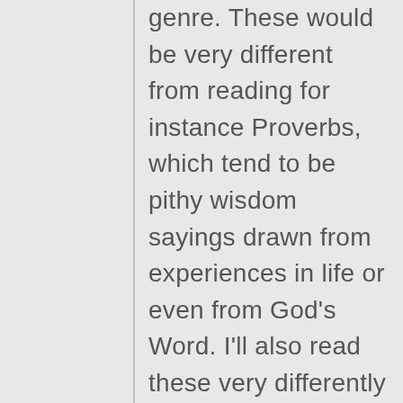genre. These would be very different from reading for instance Proverbs, which tend to be pithy wisdom sayings drawn from experiences in life or even from God's Word. I'll also read these very differently than I'll read for instance a psalm of lament in which God's people lament the suffering that they're undergoing. So when we consider a text in the Bible, we have to consider a genre so that we can understand